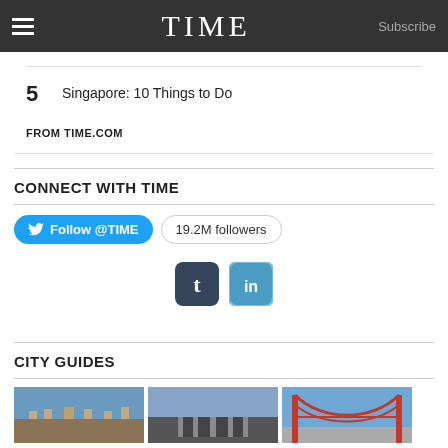TIME  Subscribe
5  Singapore: 10 Things to Do
FROM TIME.COM
CONNECT WITH TIME
Follow @TIME  19.2M followers
[Figure (logo): Tumblr and LinkedIn social media icon buttons]
CITY GUIDES
[Figure (photo): Three city guide photos: Great Wall of China, a European castle/building, and Golden Gate Bridge San Francisco]